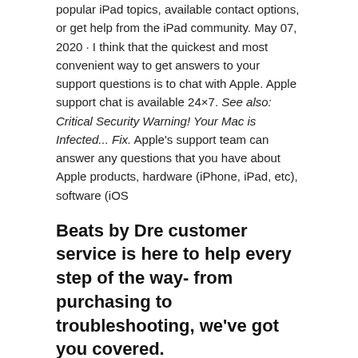popular iPad topics, available contact options, or get help from the iPad community. May 07, 2020 · I think that the quickest and most convenient way to get answers to your support questions is to chat with Apple. Apple support chat is available 24×7. See also: Critical Security Warning! Your Mac is Infected... Fix. Apple's support team can answer any questions that you have about Apple products, hardware (iPhone, iPad, etc), software (iOS
Beats by Dre customer service is here to help every step of the way- from purchasing to troubleshooting, we've got you covered.
May 05, 2019 · The latest bunch of these calls have been automated with a message informing the user to call a number that purports to be Apple support, complete with estimated waiting times and convincing Apple.com/ph is a convenient place to purchase Apple products and accessories from Apple. You can browse, discover, and call 800-671-2775. You can...